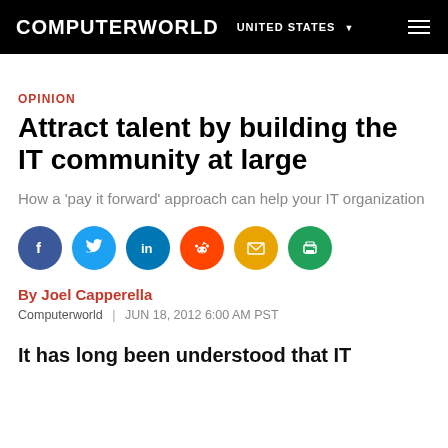COMPUTERWORLD | UNITED STATES
OPINION
Attract talent by building the IT community at large
How a 'pay it forward' approach can help your IT organization
[Figure (infographic): Row of social sharing icons: Facebook, Twitter, LinkedIn, Reddit, Email, Print]
By Joel Capperella
Computerworld | JUN 18, 2012 6:00 AM PST
It has long been understood that IT